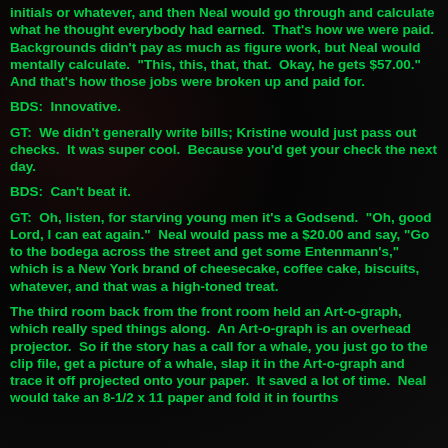initials or whatever, and then Neal would go through and calculate what he thought everybody had earned.  That's how we were paid.  Backgrounds didn't pay as much as figure work, but Neal would mentally calculate.  "This, this, that, that.  Okay, he gets $57.00."  And that's how those jobs were broken up and paid for.
BDS:  Innovative.
GT:  We didn't generally write bills; Kristine would just pass out checks.  It was super cool.  Because you'd get your check the next day.
BDS:  Can't beat it.
GT:  Oh, listen, for starving young men it's a Godsend.  "Oh, good Lord, I can eat again."  Neal would pass me a $20.00 and say, "Go to the bodega across the street and get some Entenmann's," which is a New York brand of cheesecake, coffee cake, biscuits, whatever, and that was a high-toned treat.
The third room back from the front room held an Art-o-graph, which really sped things along.  An Art-o-graph is an overhead projector.  So if the story has a call for a whale, you just go to the clip file, get a picture of a whale, slap it in the Art-o-graph and trace it off projected onto your paper.  It saved a lot of time.  Neal would take an 8-1/2 x 11 paper and fold it in fourths